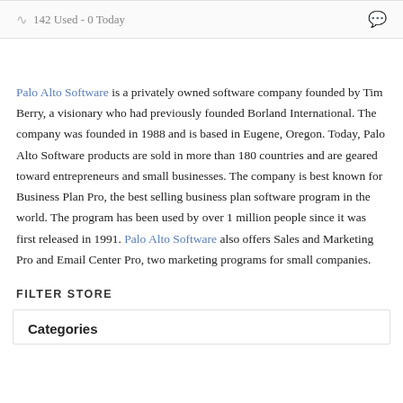142 Used - 0 Today
Palo Alto Software is a privately owned software company founded by Tim Berry, a visionary who had previously founded Borland International. The company was founded in 1988 and is based in Eugene, Oregon. Today, Palo Alto Software products are sold in more than 180 countries and are geared toward entrepreneurs and small businesses. The company is best known for Business Plan Pro, the best selling business plan software program in the world. The program has been used by over 1 million people since it was first released in 1991. Palo Alto Software also offers Sales and Marketing Pro and Email Center Pro, two marketing programs for small companies.
FILTER STORE
Categories